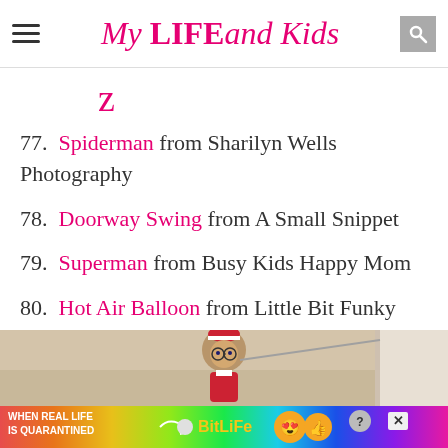My LIFE and Kids
z
77. Spiderman from Sharilyn Wells Photography
78. Doorway Swing from A Small Snippet
79. Superman from Busy Kids Happy Mom
80. Hot Air Balloon from Little Bit Funky
[Figure (photo): Elf on the Shelf doll dressed with glasses and a wand, appears to be dressed as a teacher or professor figure, photographed indoors]